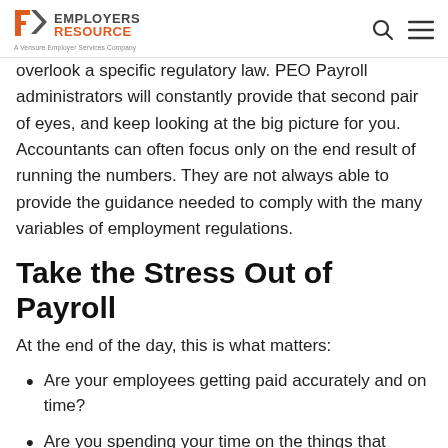Employers Resource — A Vensure Employer Services Company
overlook a specific regulatory law. PEO Payroll administrators will constantly provide that second pair of eyes, and keep looking at the big picture for you. Accountants can often focus only on the end result of running the numbers. They are not always able to provide the guidance needed to comply with the many variables of employment regulations.
Take the Stress Out of Payroll
At the end of the day, this is what matters:
Are your employees getting paid accurately and on time?
Are you spending your time on the things that